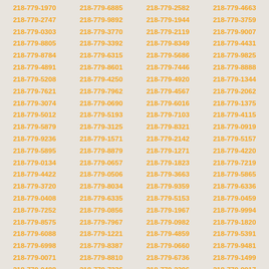218-779-1970 218-779-6885 218-779-2582 218-779-4663 218-779-2747 218-779-9892 218-779-1944 218-779-3759 218-779-0303 218-779-3770 218-779-2119 218-779-9007 218-779-8805 218-779-3392 218-779-8349 218-779-4431 218-779-8784 218-779-6315 218-779-5686 218-779-9825 218-779-4891 218-779-8601 218-779-7446 218-779-8888 218-779-5208 218-779-4250 218-779-4920 218-779-1344 218-779-7621 218-779-7962 218-779-4567 218-779-2062 218-779-3074 218-779-0690 218-779-6016 218-779-1375 218-779-5012 218-779-5193 218-779-7103 218-779-4115 218-779-5879 218-779-3125 218-779-8321 218-779-0919 218-779-9236 218-779-1571 218-779-2142 218-779-5157 218-779-5895 218-779-8879 218-779-1271 218-779-4220 218-779-0134 218-779-0657 218-779-1823 218-779-7219 218-779-4422 218-779-0506 218-779-3663 218-779-5865 218-779-3720 218-779-8034 218-779-9359 218-779-6336 218-779-0408 218-779-6335 218-779-5153 218-779-0459 218-779-7252 218-779-0856 218-779-1967 218-779-9994 218-779-8575 218-779-7967 218-779-0982 218-779-1820 218-779-6088 218-779-1221 218-779-4859 218-779-5391 218-779-6998 218-779-8387 218-779-0660 218-779-9481 218-779-0071 218-779-8810 218-779-6736 218-779-1499 218-779-0488 218-779-7236 218-779-2396 218-779-9017 218-779-2248 218-779-6950 218-779-0471 218-779-2990 218-779-6093 218-779-1732 218-779-5605 218-779-0068 218-779-6669 218-779-3857 218-779-3217 218-779-6024 218-779-9051 218-779-6466 218-779-7989 218-779-1725 218-779-8443 218-779-4180 218-779-9516 218-779-2107 218-779-2892 218-779-0916 218-779-7021 218-779-0302 218-779-8290 218-779-1055 218-779-3023 218-779-6895 218-779-9690 218-779-4827 218-779-5668 218-779-0663